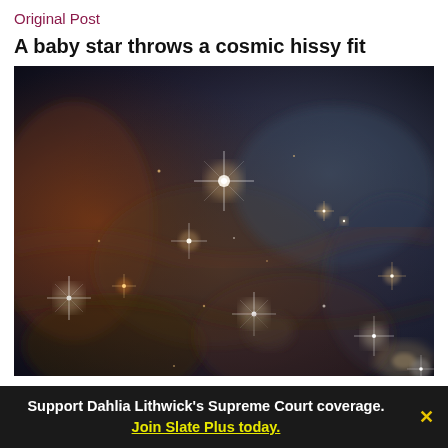Original Post
A baby star throws a cosmic hissy fit
[Figure (photo): Hubble Space Telescope image of a stellar nursery nebula with multiple bright stars with diffraction spikes against a dark cloud background, with orange and brown nebula gas on the left and blue-grey dust clouds on the right.]
Support Dahlia Lithwick's Supreme Court coverage. Join Slate Plus today.